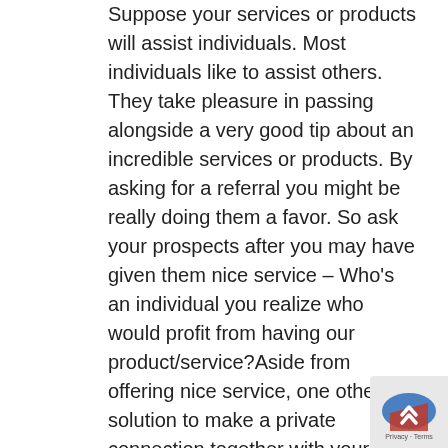Suppose your services or products will assist individuals. Most individuals like to assist others. They take pleasure in passing alongside a very good tip about an incredible services or products. By asking for a referral you might be really doing them a favor. So ask your prospects after you may have given them nice service – Who's an individual you realize who would profit from having our product/service?Aside from offering nice service, one other solution to make a private connection together with your present prospects is to ship a publication. As an alternative of sending the typical, boring e mail that the majority companies ship, deal with success tales of your present prospects. Clarify the way you solved an issue that certainly one of your prospects confronted. Clarify why fixing that drawback was essential to them and clarify the way you solved it. Then embody testimonial from the client.While you search for